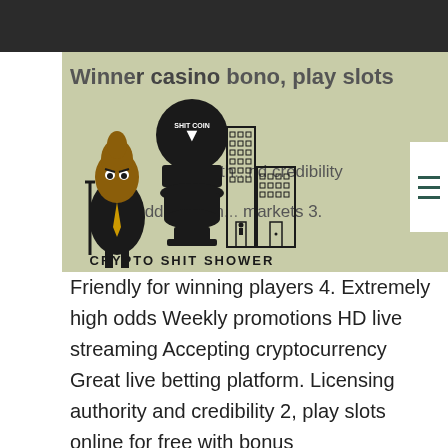Winner casino bono, play slots
[Figure (logo): Crypto Shit Shower logo — cartoon poop character in suit, toilet with 'Shit Coin' ball, city buildings. Text: CRYPTO SHIT SHOWER]
zen... th... nd credibility. Odd... bettin... markets 3. Friendly for winning players 4. Extremely high odds Weekly promotions HD live streaming Accepting cryptocurrency Great live betting platform. Licensing authority and credibility 2, play slots online for free with bonus
Friendly for winning players 4.
Extremely high odds Weekly promotions HD live streaming Accepting cryptocurrency Great live betting platform. Licensing authority and credibility 2, play slots online for free with bonus